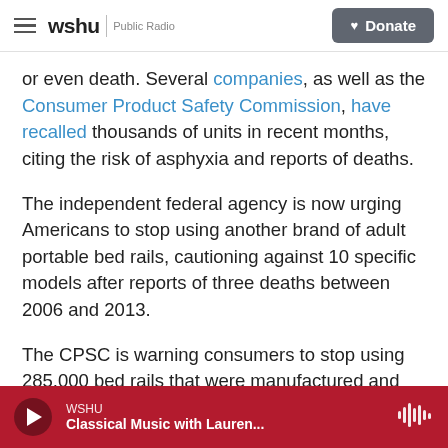wshu | Public Radio  [Donate button]
or even death. Several companies, as well as the Consumer Product Safety Commission, have recalled thousands of units in recent months, citing the risk of asphyxia and reports of deaths.
The independent federal agency is now urging Americans to stop using another brand of adult portable bed rails, cautioning against 10 specific models after reports of three deaths between 2006 and 2013.
The CPSC is warning consumers to stop using 285,000 bed rails that were manufactured and sold
WSHU — Classical Music with Lauren...